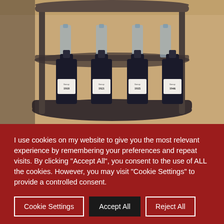[Figure (photo): A wine trolley or rack holding four dark wine/spirit bottles with white labels showing years (1918, 1921, 1935, 1946), along with glasses, on a beige/tan carpet background.]
I use cookies on my website to give you the most relevant experience by remembering your preferences and repeat visits. By clicking "Accept All", you consent to the use of ALL the cookies. However, you may visit "Cookie Settings" to provide a controlled consent.